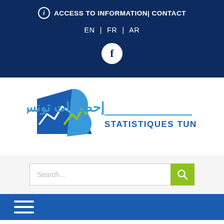ACCESS TO INFORMATION| CONTACT
EN | FR | AR
[Figure (logo): Facebook icon - white circle with dark blue letter f]
[Figure (logo): Statistiques Tunisie logo with Arabic text and stylized map/chart graphic in blue and green]
Search...
Home > Statistiques